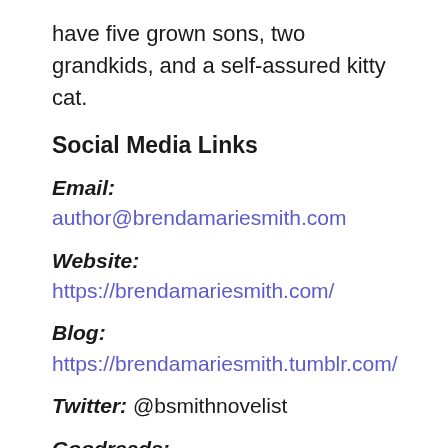have five grown sons, two grandkids, and a self-assured kitty cat.
Social Media Links
Email: author@brendamariesmith.com
Website: https://brendamariesmith.com/
Blog: https://brendamariesmith.tumblr.com/
Twitter: @bsmithnovelist
Goodreads: https://www.goodreads.com/author/show/7328277.Brenda_Marie_Smith